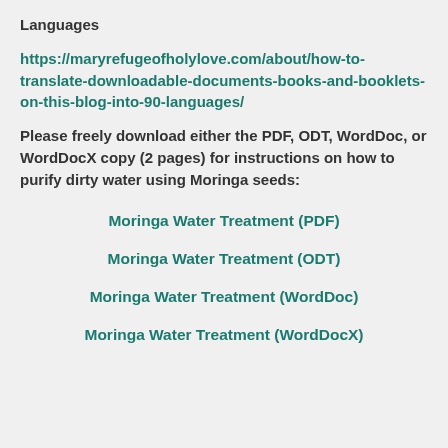Languages
https://maryrefugeofholylove.com/about/how-to-translate-downloadable-documents-books-and-booklets-on-this-blog-into-90-languages/
Please freely download either the PDF, ODT, WordDoc, or WordDocX copy (2 pages) for instructions on how to purify dirty water using Moringa seeds:
Moringa Water Treatment (PDF)
Moringa Water Treatment (ODT)
Moringa Water Treatment (WordDoc)
Moringa Water Treatment (WordDocX)